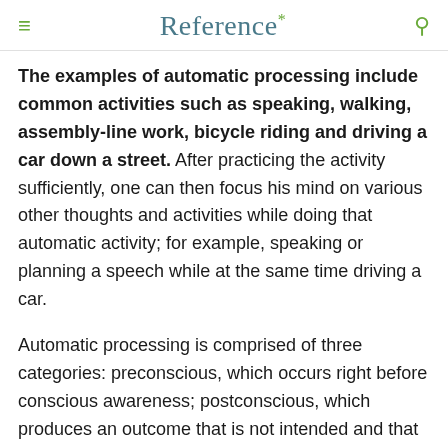Reference*
The examples of automatic processing include common activities such as speaking, walking, assembly-line work, bicycle riding and driving a car down a street. After practicing the activity sufficiently, one can then focus his mind on various other thoughts and activities while doing that automatic activity; for example, speaking or planning a speech while at the same time driving a car.
Automatic processing is comprised of three categories: preconscious, which occurs right before conscious awareness; postconscious, which produces an outcome that is not intended and that requires